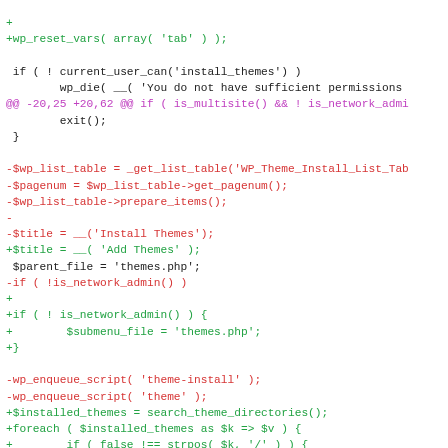[Figure (screenshot): A code diff view showing PHP code changes with green lines for additions, red lines for deletions, and a magenta/purple diff header line. The code relates to WordPress theme installation functionality.]